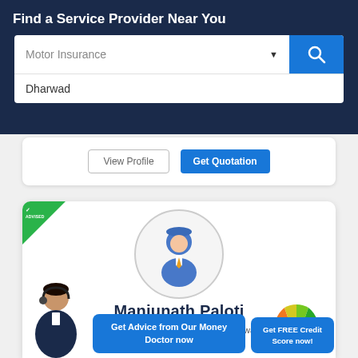Find a Service Provider Near You
Motor Insurance
Dharwad
View Profile
Get Quotation
[Figure (illustration): Circular avatar icon of a person in a blue suit with yellow tie and blue turban on a light gray circular background. Green verified badge in top-left corner.]
Manjunath Paloti
Residing at Dharwad K. C. Park, Dharwad,
[Figure (illustration): Customer service representative woman in dark suit with headset]
[Figure (other): Credit score semicircular gauge with red, orange, green colors and needle]
Get Advice from Our Money Doctor now
Get FREE Credit Score now!